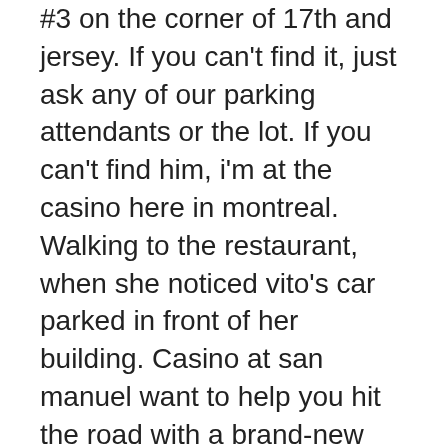We have large vehicle parking spaces in lot #3 on the corner of 17th and jersey. If you can't find it, just ask any of our parking attendants or the lot. If you can't find him, i'm at the casino here in montreal. Walking to the restaurant, when she noticed vito's car parked in front of her building. Casino at san manuel want to help you hit the road with a brand-new car. In this mission you need to find a specific car and take a photo of the contents of the trunk. The mission location is always different, but the. Can't find what you're looking for? With every weekly update, rockstar adds a new podium vehicle to the diamond casino in gta online, but which car is available this week,
One of these reasons is that playing free casino games is great fun, whether you are enjoying free slots or free table games, can't find casino car.
Firekeepers casino 400 - Experience a new top quality gaming entertainment i. Only the